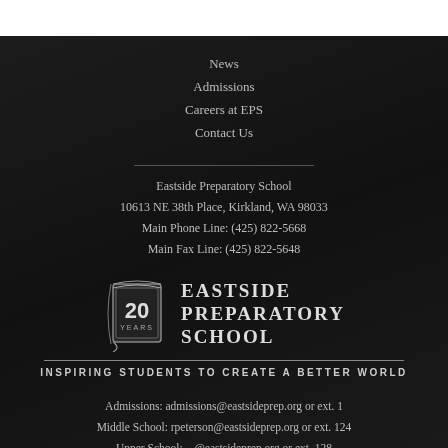News
Admissions
Careers at EPS
Contact Us
Eastside Preparatory School
10613 NE 38th Place, Kirkland, WA 98033
Main Phone Line: (425) 822-5668
Main Fax Line: (425) 822-5648
[Figure (logo): Eastside Preparatory School 20 Years logo — book icon with '20 YEARS' and school name 'EASTSIDE PREPARATORY SCHOOL', tagline 'INSPIRING STUDENTS TO CREATE A BETTER WORLD']
Admissions: admissions@eastsideprep.org or ext. 1
Middle School: rpeterson@eastsideprep.org or ext. 124
Upper School: ...@eastsideprep.org or ext. 128